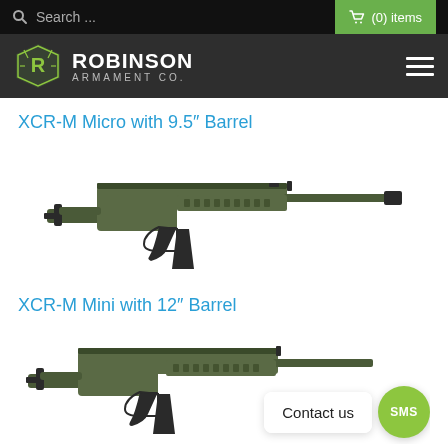Search ... (0) items
[Figure (logo): Robinson Armament Co. logo with navigation bar]
XCR-M Micro with 9.5″ Barrel
[Figure (photo): XCR-M Micro rifle with 9.5 inch barrel in olive drab green color, side profile view]
XCR-M Mini with 12″ Barrel
[Figure (photo): XCR-M Mini rifle with 12 inch barrel in olive drab green color, side profile view, partially shown with Contact us SMS overlay]